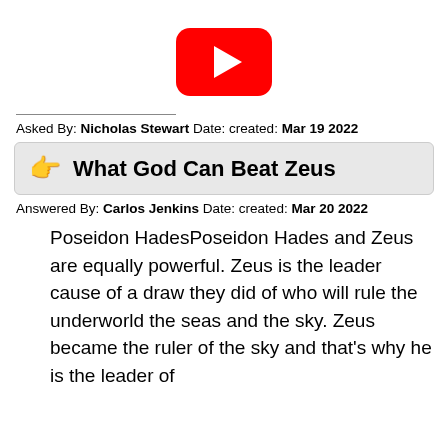[Figure (logo): YouTube logo: red rounded rectangle with white play triangle]
Asked By: Nicholas Stewart Date: created: Mar 19 2022
👉 What God Can Beat Zeus
Answered By: Carlos Jenkins Date: created: Mar 20 2022
Poseidon HadesPoseidon Hades and Zeus are equally powerful. Zeus is the leader cause of a draw they did of who will rule the underworld the seas and the sky. Zeus became the ruler of the sky and that's why he is the leader of